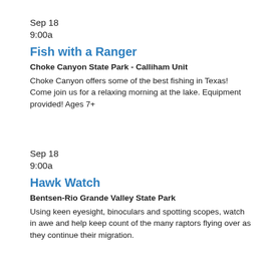Sep 18
9:00a
Fish with a Ranger
Choke Canyon State Park - Calliham Unit
Choke Canyon offers some of the best fishing in Texas! Come join us for a relaxing morning at the lake. Equipment provided! Ages 7+
Sep 18
9:00a
Hawk Watch
Bentsen-Rio Grande Valley State Park
Using keen eyesight, binoculars and spotting scopes, watch in awe and help keep count of the many raptors flying over as they continue their migration.